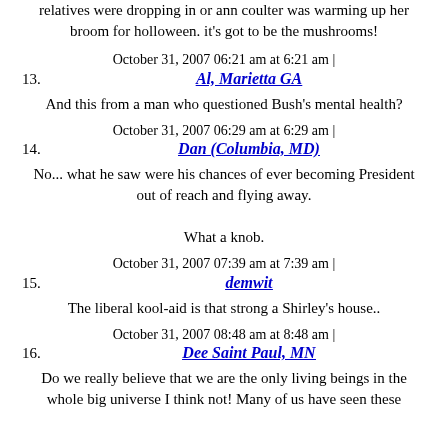relatives were dropping in or ann coulter was warming up her broom for holloween. it's got to be the mushrooms!
October 31, 2007 06:21 am at 6:21 am |
13. Al, Marietta GA
And this from a man who questioned Bush's mental health?
October 31, 2007 06:29 am at 6:29 am |
14. Dan (Columbia, MD)
No... what he saw were his chances of ever becoming President out of reach and flying away.

What a knob.
October 31, 2007 07:39 am at 7:39 am |
15. demwit
The liberal kool-aid is that strong a Shirley's house..
October 31, 2007 08:48 am at 8:48 am |
16. Dee Saint Paul, MN
Do we really believe that we are the only living beings in the whole big universe I think not! Many of us have seen these